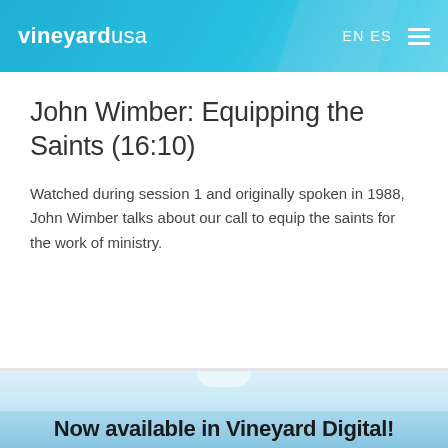vineyard usa  EN ES
John Wimber: Equipping the Saints (16:10)
Watched during session 1 and originally spoken in 1988, John Wimber talks about our call to equip the saints for the work of ministry.
Now available in Vineyard Digital!